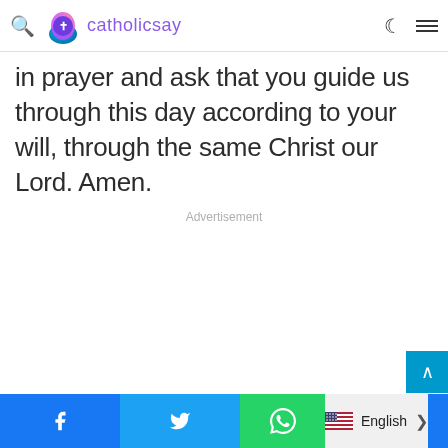catholicsay
in prayer and ask that you guide us through this day according to your will, through the same Christ our Lord. Amen.
Advertisement
English